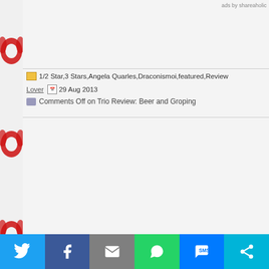ads by shareaholic
1/2 Star, 3 Stars, Angela Quarles, Draconismoi, featured, Review Lover  29 Aug 2013
Comments Off on Trio Review: Beer and Groping
Best Books of August: Best of the Litter
[Figure (photo): Cat meme image showing two kittens in a basket with speech bubbles: 'All I've gotta do is lay here, look cute and lick my paw. And then...' and 'Another human brain explodes from squeeeness!' with green text '>SPLORT!!<']
It's that time again!
We're back for another edition of "The Pic... chance to squee a bit about the books we
Let the adoration begin…
Twitter  Facebook  Email  WhatsApp  SMS  More